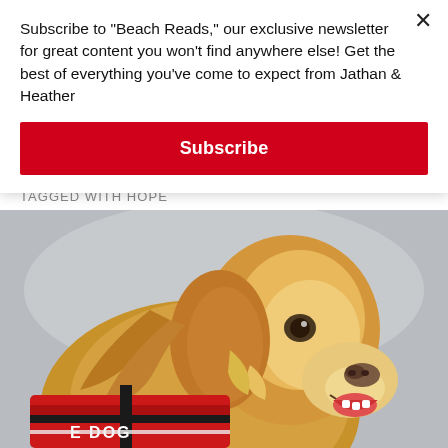Subscribe to "Beach Reads," our exclusive newsletter for great content you won't find anywhere else! Get the best of everything you've come to expect from Jathan & Heather
Subscribe
TAGGED WITH HOPE
[Figure (photo): Golden retriever wearing a red service dog vest with 'DOG' text visible, looking up and slightly to the right, with a gray blurred background]